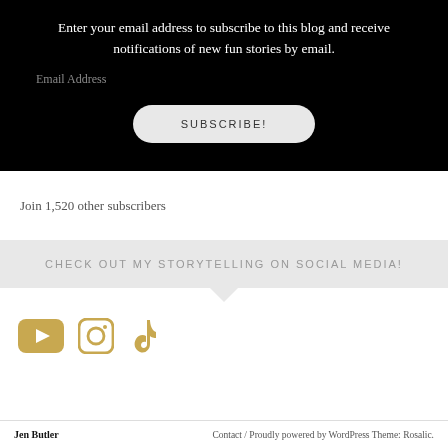Enter your email address to subscribe to this blog and receive notifications of new fun stories by email.
Email Address
SUBSCRIBE!
Join 1,520 other subscribers
CHECK OUT MY STORYTELLING ON SOCIAL MEDIA!
[Figure (logo): YouTube, Instagram, and TikTok social media icons in gold/dark gold color]
Jen Butler    Contact / Proudly powered by WordPress Theme: Rosalic.